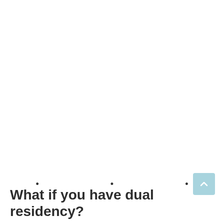• • •
What if you have dual residency?